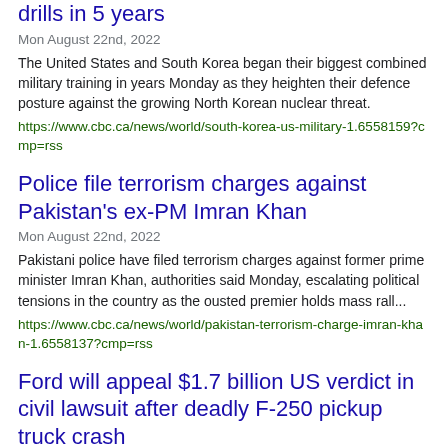drills in 5 years
Mon August 22nd, 2022
The United States and South Korea began their biggest combined military training in years Monday as they heighten their defence posture against the growing North Korean nuclear threat.
https://www.cbc.ca/news/world/south-korea-us-military-1.6558159?cmp=rss
Police file terrorism charges against Pakistan's ex-PM Imran Khan
Mon August 22nd, 2022
Pakistani police have filed terrorism charges against former prime minister Imran Khan, authorities said Monday, escalating political tensions in the country as the ousted premier holds mass rall...
https://www.cbc.ca/news/world/pakistan-terrorism-charge-imran-khan-1.6558137?cmp=rss
Ford will appeal $1.7 billion US verdict in civil lawsuit after deadly F-250 pickup truck crash
Sun August 21st, 2022
Ford Motor Co. plans to appeal a $1.7 billion US verdict in a